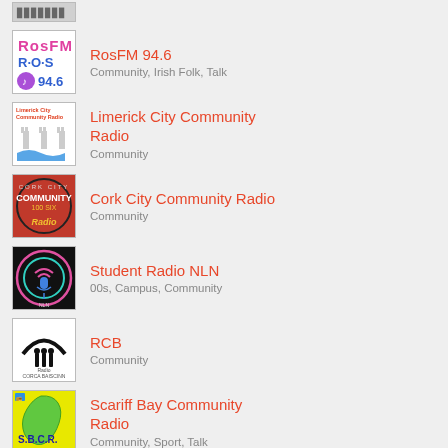RosFM 94.6 — Community, Irish Folk, Talk
Limerick City Community Radio — Community
Cork City Community Radio — Community
Student Radio NLN — 00s, Campus, Community
RCB — Community
Scariff Bay Community Radio — Community, Sport, Talk